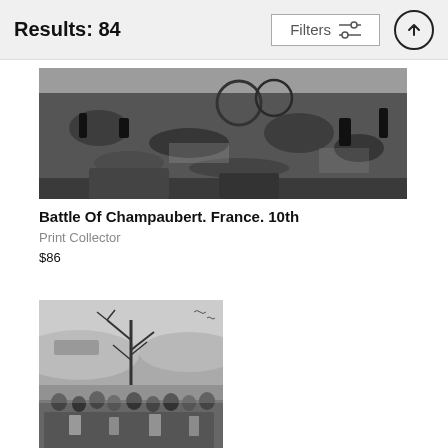Results: 84
[Figure (screenshot): Mobile app interface showing a filters button with slider icon and an up-arrow circle button]
[Figure (illustration): Black and white engraving depicting the Battle of Champaubert, France, showing soldiers in combat with fallen figures on a battlefield]
Battle Of Champaubert. France. 10th
Print Collector
$86
[Figure (illustration): Black and white engraving showing soldiers and a bare tree in a winter landscape with hills in the background]